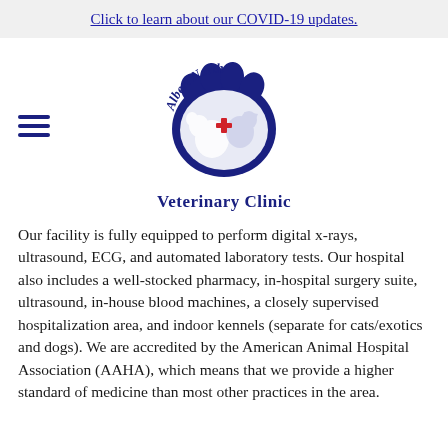Click to learn about our COVID-19 updates.
[Figure (logo): Albert North Veterinary Clinic circular paw print logo with dog and cat silhouette and red cross in center, dark navy blue, with text 'Albert North' arched at top and 'Veterinary Clinic' below]
Our facility is fully equipped to perform digital x-rays, ultrasound, ECG, and automated laboratory tests. Our hospital also includes a well-stocked pharmacy, in-hospital surgery suite, ultrasound, in-house blood machines, a closely supervised hospitalization area, and indoor kennels (separate for cats/exotics and dogs). We are accredited by the American Animal Hospital Association (AAHA), which means that we provide a higher standard of medicine than most other practices in the area.